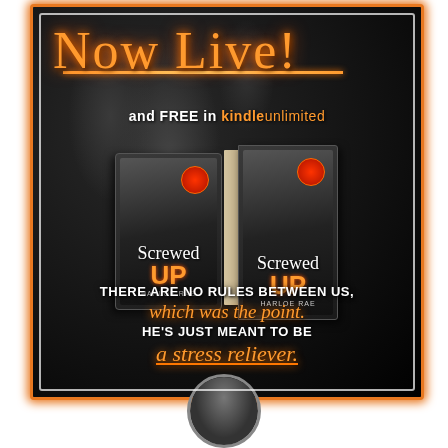[Figure (illustration): Book promotional graphic for 'Screwed Up' by Harloe Rae. Dark background with athletic figure, showing ebook and print book covers. Orange neon-style text reads 'Now Live!' and 'and FREE in Kindle Unlimited'. Quote text: 'THERE ARE NO RULES BETWEEN US, which was the point. HE'S JUST MEANT TO BE a stress reliever.']